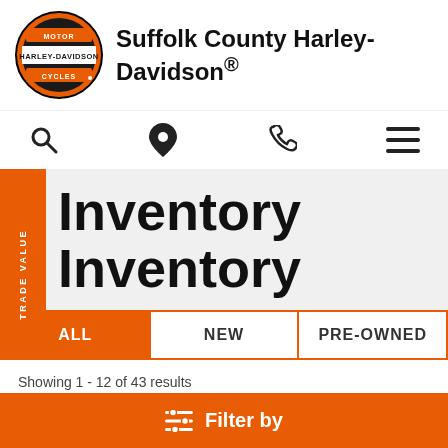[Figure (logo): Harley-Davidson Motor Cycles circular orange and black logo]
Suffolk County Harley-Davidson®
[Figure (infographic): Navigation icons: search (magnifier), location pin, phone, hamburger menu]
Inventory
Inventory
ALL | NEW | PRE-OWNED tab bar, ALL selected
Showing 1 - 12 of 43 results
Alphabetical ▼   Descending ▼
≡ Filter by